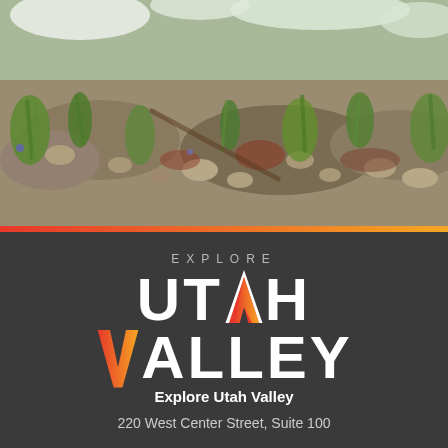[Figure (photo): Outdoor landscape photo showing rocky mountain terrain with green alpine plants, grasses, wildflowers, and snow-capped peaks visible in the upper background.]
[Figure (logo): Explore Utah Valley logo — 'EXPLORE' in spaced gray caps above large bold white text 'UTAH' and 'VALLEY', with an orange-red mountain/chevron icon replacing the A in UTAH and V in VALLEY.]
Explore Utah Valley
220 West Center Street, Suite 100